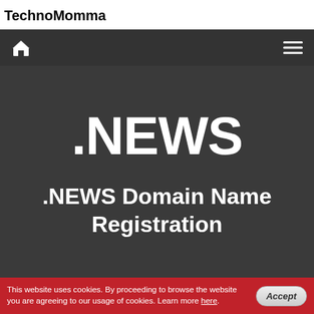TechnoMomma
[Figure (screenshot): Navigation bar with home icon (house) on the left and hamburger menu icon on the right, dark background]
.NEWS
.NEWS Domain Name Registration
This website uses cookies. By proceeding to browse the website you are agreeing to our usage of cookies. Learn more here.